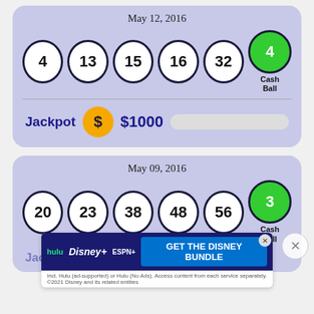May 12, 2016
[Figure (infographic): Lottery balls showing numbers 4, 13, 15, 16, 32 (white) and 4 Cash Ball (green)]
Jackpot $1000
May 09, 2016
[Figure (infographic): Lottery balls showing numbers 20, 23, 38, 48, 56 (white) and 3 Cash Ball (green)]
[Figure (infographic): Advertisement: GET THE DISNEY BUNDLE - hulu Disney+ ESPN+]